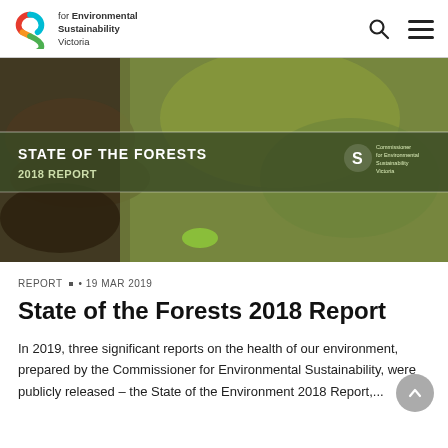Commissioner for Environmental Sustainability Victoria
[Figure (photo): Hero image of a moss-covered branch with the text 'STATE OF THE FORESTS 2018 REPORT' and the Commissioner for Environmental Sustainability Victoria logo overlaid on a semi-transparent dark banner.]
REPORT • 19 MAR 2019
State of the Forests 2018 Report
In 2019, three significant reports on the health of our environment, prepared by the Commissioner for Environmental Sustainability, were publicly released – the State of the Environment 2018 Report,...